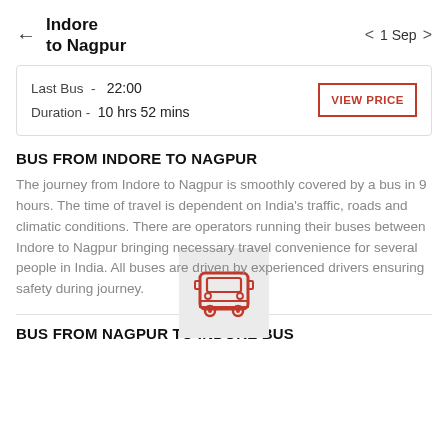Indore to Nagpur | 1 Sep
| Field | Value |
| --- | --- |
| Last Bus - | 22:00 |
| Duration - | 10 hrs 52 mins |
VIEW PRICE
BUS FROM INDORE TO NAGPUR
[Figure (illustration): Red bus icon on a light grey square background]
The journey from Indore to Nagpur is smoothly covered by a bus in 9 hours. The time of travel is dependent on India's traffic, roads and climatic conditions. There are operators running their buses between Indore to Nagpur bringing necessary travel convenience for several people in India. All buses are driven by experienced drivers ensuring safety during journey.
BUS FROM NAGPUR TO INDORE BUS